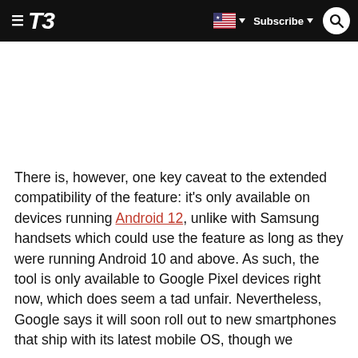T3 — Subscribe
There is, however, one key caveat to the extended compatibility of the feature: it's only available on devices running Android 12, unlike with Samsung handsets which could use the feature as long as they were running Android 10 and above. As such, the tool is only available to Google Pixel devices right now, which does seem a tad unfair. Nevertheless, Google says it will soon roll out to new smartphones that ship with its latest mobile OS, though we